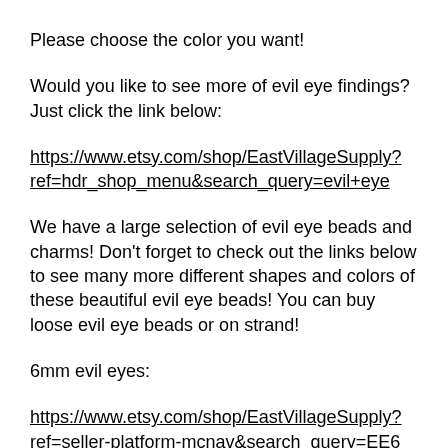Please choose the color you want!
Would you like to see more of evil eye findings? Just click the link below:
https://www.etsy.com/shop/EastVillageSupply?ref=hdr_shop_menu&search_query=evil+eye
We have a large selection of evil eye beads and charms! Don't forget to check out the links below to see many more different shapes and colors of these beautiful evil eye beads! You can buy loose evil eye beads or on strand!
6mm evil eyes:
https://www.etsy.com/shop/EastVillageSupply?ref=seller-platform-mcnav&search_query=EE6